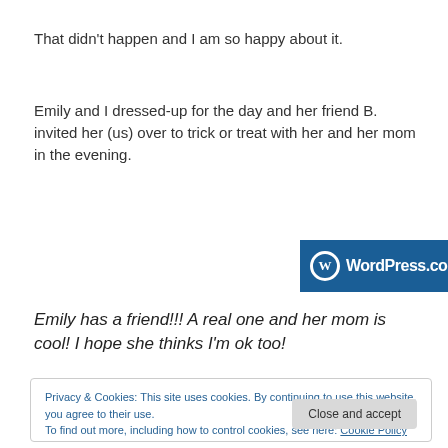That didn't happen and I am so happy about it.
Emily and I dressed-up for the day and her friend B. invited her (us) over to trick or treat with her and her mom in the evening.
[Figure (other): Advertisement banner showing WordPress.com logo on blue background with a pink 'Build Your Website' button on the right.]
Emily has a friend!!! A real one and her mom is cool!  I hope she thinks I'm ok too!
Privacy & Cookies: This site uses cookies. By continuing to use this website, you agree to their use.
To find out more, including how to control cookies, see here: Cookie Policy
[Close and accept]